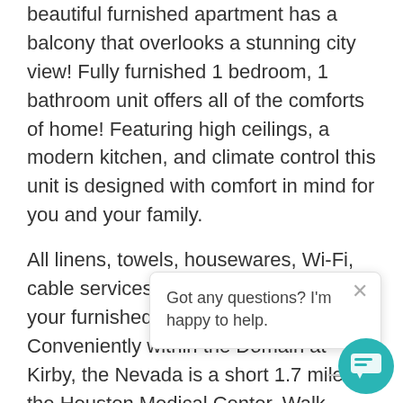beautiful furnished apartment has a balcony that overlooks a stunning city view! Fully furnished 1 bedroom, 1 bathroom unit offers all of the comforts of home! Featuring high ceilings, a modern kitchen, and climate control this unit is designed with comfort in mind for you and your family.
All linens, towels, housewares, Wi-Fi, cable services and utilities are included your furnished apartment stay. Conveniently within the Domain at Kirby, the Nevada is a short 1.7 miles to the Houston Medical Center. Walk down to below the property and across the street to the prepare your gourmet meal in your private kitchen!
Close your eyes and be whisked away the slow cool waters of Lake Tahoe and relax in luxury and comfort for your next stay.